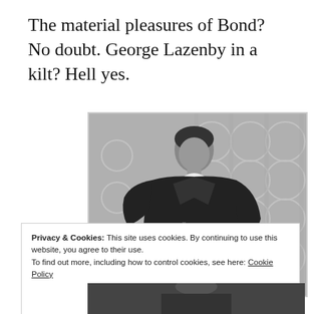The material pleasures of Bond? No doubt. George Lazenby in a kilt? Hell yes.
[Figure (photo): Black and white photograph of George Lazenby dressed in formal Scottish attire with a frilled white jabot, posing against a background with circular geometric patterns.]
Privacy & Cookies: This site uses cookies. By continuing to use this website, you agree to their use.
To find out more, including how to control cookies, see here: Cookie Policy
Close and accept